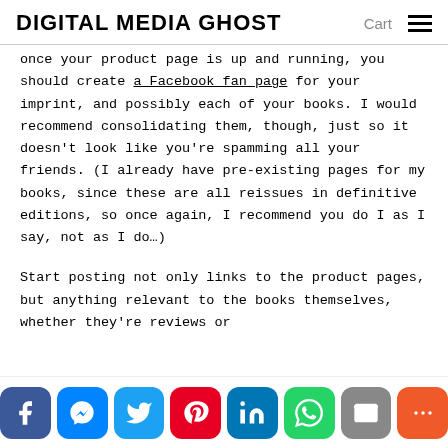DIGITAL MEDIA GHOST | Cart
once your product page is up and running, you should create a Facebook fan page for your imprint, and possibly each of your books. I would recommend consolidating them, though, just so it doesn't look like you're spamming all your friends. (I already have pre-existing pages for my books, since these are all reissues in definitive editions, so once again, I recommend you do I as I say, not as I do…)
Start posting not only links to the product pages, but anything relevant to the books themselves, whether they're reviews or